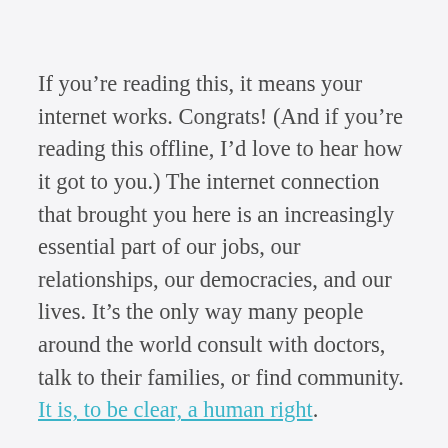If you’re reading this, it means your internet works. Congrats! (And if you’re reading this offline, I’d love to hear how it got to you.) The internet connection that brought you here is an increasingly essential part of our jobs, our relationships, our democracies, and our lives. It’s the only way many people around the world consult with doctors, talk to their families, or find community. It is, to be clear, a human right.